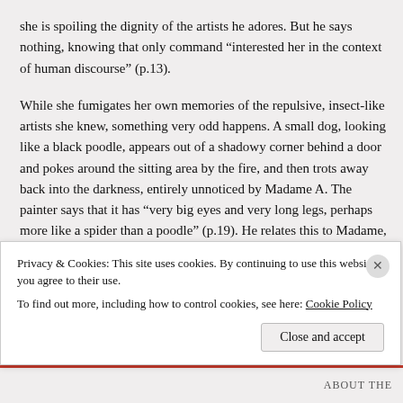she is spoiling the dignity of the artists he adores. But he says nothing, knowing that only command “interested her in the context of human discourse” (p.13).
While she fumigates her own memories of the repulsive, insect-like artists she knew, something very odd happens. A small dog, looking like a black poodle, appears out of a shadowy corner behind a door and pokes around the sitting area by the fire, and then trots away back into the darkness, entirely unnoticed by Madame A. The painter says that it has “very big eyes and very long legs, perhaps more like a spider than a poodle” (p.19). He relates this to Madame, suggesting it “must have got in from the darkness outside,” but she shrugs and replies that animals are always making appearances in the room, including “less commonplace species” (p.20).
Privacy & Cookies: This site uses cookies. By continuing to use this website, you agree to their use.
To find out more, including how to control cookies, see here: Cookie Policy